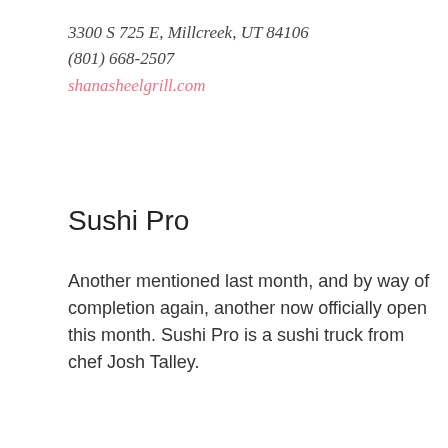3300 S 725 E, Millcreek, UT 84106
(801) 668-2507
shanasheelgrill.com
Sushi Pro
Another mentioned last month, and by way of completion again, another now officially open this month. Sushi Pro is a sushi truck from chef Josh Talley.
4337 Harrison Blvd, Ogden, UT 84403
(385) 432-0834
sushiproogden.kwickmenu.com
Vivi Bubble Tea
Would it even be a real new restaurant roundup